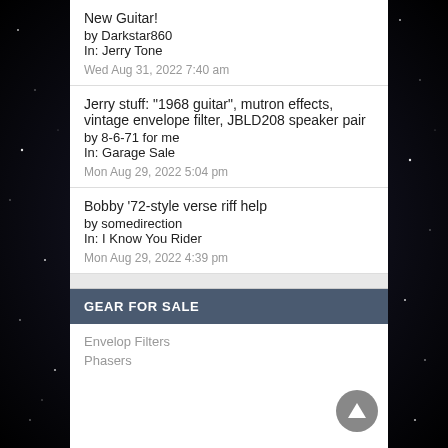New Guitar!
by Darkstar860
In: Jerry Tone
Wed Aug 31, 2022 7:40 am
Jerry stuff: "1968 guitar", mutron effects, vintage envelope filter, JBLD208 speaker pair
by 8-6-71 for me
In: Garage Sale
Mon Aug 29, 2022 5:04 pm
Bobby '72-style verse riff help
by somedirection
In: I Know You Rider
Mon Aug 29, 2022 4:39 pm
GEAR FOR SALE
Envelop Filters
Phasers